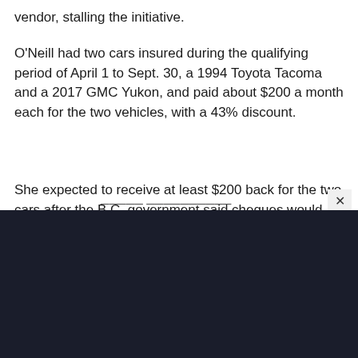vendor, stalling the initiative.
O'Neill had two cars insured during the qualifying period of April 1 to Sept. 30, a 1994 Toyota Tacoma and a 2017 GMC Yukon, and paid about $200 a month each for the two vehicles, with a 43% discount.
She expected to receive at least $200 back for the two cars after the B.C. government said cheques would range from $25 to $400 when the rebate plan was announced in February.
[Figure (screenshot): Dark overlay panel covering the bottom portion of the page, partially obscuring content below. An X close button is visible in the upper right of the overlay area.]